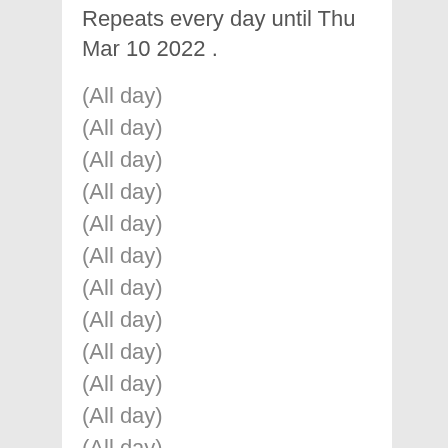Repeats every day until Thu Mar 10 2022 .
(All day)
(All day)
(All day)
(All day)
(All day)
(All day)
(All day)
(All day)
(All day)
(All day)
(All day)
(All day)
(All day)